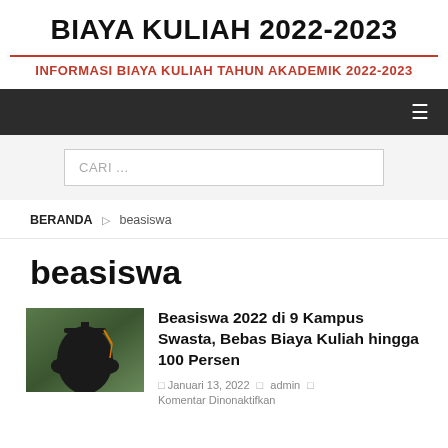BIAYA KULIAH 2022-2023
INFORMASI BIAYA KULIAH TAHUN AKADEMIK 2022-2023
[Figure (screenshot): Dark navigation bar with hamburger menu icon on the right]
[Figure (screenshot): Search bar with placeholder text CARI ...]
BERANDA » beasiswa
beasiswa
[Figure (photo): Photo of a graduate student wearing cap and gown with orange tassel, viewed from behind]
Beasiswa 2022 di 9 Kampus Swasta, Bebas Biaya Kuliah hingga 100 Persen
□ Januari 13, 2022  □ admin  □ Komentar Dinonaktifkan